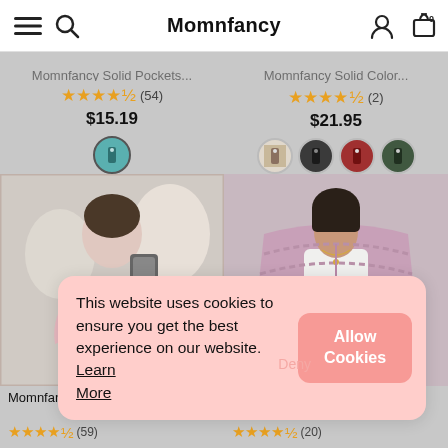Momnfancy
★★★★½ (54)
$15.19
★★★★½ (2)
$21.95
[Figure (photo): Woman in pink long-sleeve top taking a mirror selfie]
[Figure (photo): Woman wearing lavender/pink chunky cardigan over white crop top with necklace]
Momnfancy Solid Pockets Loos...
Momnfancy Solid Color Pockets...
This website uses cookies to ensure you get the best experience on our website. Learn More
Allow Cookies
Deny